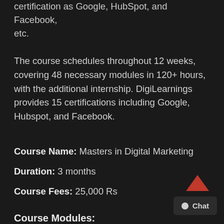certification as Google, HubSpot, and Facebook, etc.
The course schedules throughout 12 weeks, covering 48 necessary modules in 120+ hours, with the additional internship. DigiLearnings provides 15 certifications including Google, Hubspot, and Facebook.
Course Name: Masters in Digital Marketing
Duration: 3 months
Course Fees: 25,000 Rs
Course Modules: